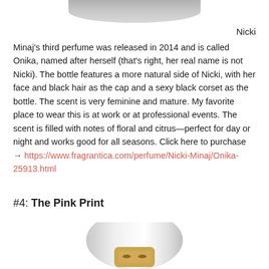[Figure (photo): Top portion of a perfume bottle, gray/silver rounded cap, partially cropped at top of page]
Nicki Minaj's third perfume was released in 2014 and is called Onika, named after herself (that's right, her real name is not Nicki). The bottle features a more natural side of Nicki, with her face and black hair as the cap and a sexy black corset as the bottle. The scent is very feminine and mature. My favorite place to wear this is at work or at professional events. The scent is filled with notes of floral and citrus—perfect for day or night and works good for all seasons. Click here to purchase → https://www.fragrantica.com/perfume/Nicki-Minaj/Onika-25913.html
#4: The Pink Print
[Figure (photo): Bottom portion of a white/silver egg-shaped perfume bottle with a gold face/mask detail, partially cropped at bottom of page]